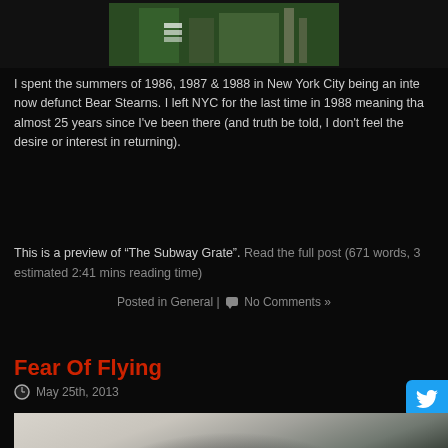[Figure (photo): Partial image visible at top of page, appears to be a colorful outdoor scene with plants/greenery and some structure]
I spent the summers of 1986, 1987 & 1988 in New York City being an inte... now defunct Bear Stearns. I left NYC for the last time in 1988 meaning that... almost 25 years since I've been there (and truth be told, I don't feel the... desire or interest in returning).
This is a preview of “The Subway Grate”. Read the full post (671 words, 3... estimated 2:41 mins reading time)
Posted in General | No Comments »
Fear Of Flying
May 25th, 2013
[Figure (photo): A person inside a vehicle, viewed from outside, appears to be reaching or adjusting something near the roof of the car. Outdoor background with greenery visible.]